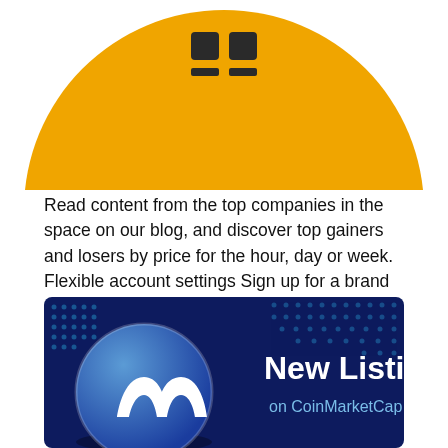[Figure (logo): Partial orange circle logo with dark square grid/table icon on top, cropped at top of page]
Read content from the top companies in the space on our blog, and discover top gainers and losers by price for the hour, day or week. Flexible account settings Sign up for a brand new CoinMarketCap account, and save your portfolio and watchlist; or choose to go incognito without logging in at any time, saving your data locally.
[Figure (illustration): Dark navy blue banner with dot pattern background. Left side shows a large blue 3D coin with white CoinMarketCap 'M' logo. Right side shows white bold text 'New Listings' and below it in lighter blue 'on CoinMarketCap'.]